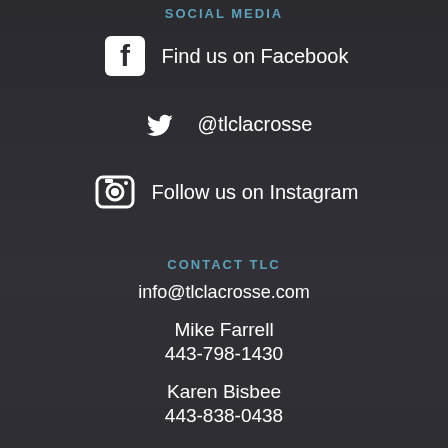SOCIAL MEDIA
Find us on Facebook
@tlclacrosse
Follow us on Instagram
CONTACT TLC
info@tlclacrosse.com
Mike Farrell
443-798-1430
Karen Bisbee
443-838-0438